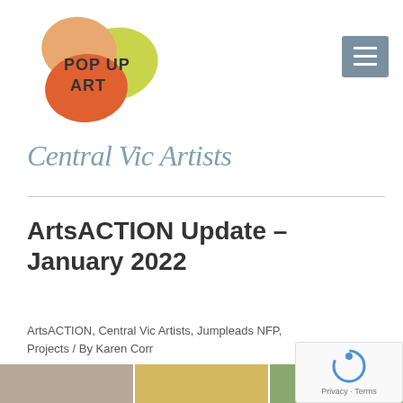[Figure (logo): Pop Up Art logo with colorful organic shapes (orange, peach, yellow-green) and text 'POP UP ART' in hand-drawn style]
[Figure (other): Grey hamburger menu button with three white horizontal lines]
Central Vic Artists
ArtsACTION Update – January 2022
ArtsACTION, Central Vic Artists, Jumpleads NFP, Projects / By Karen Corr
[Figure (photo): Three photo thumbnails: person with glasses in a studio, colorful craft items on display, hanging jewelry/art pieces]
[Figure (other): Google reCAPTCHA badge with spinning arrow icon and 'Privacy - Terms' text]